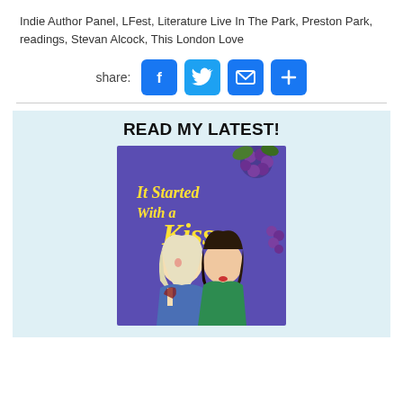Indie Author Panel, LFest, Literature Live In The Park, Preston Park, readings, Stevan Alcock, This London Love
[Figure (infographic): Share buttons row: Facebook (blue), Twitter (blue), Email (blue envelope), Plus (blue plus sign), with 'share:' label to the left]
[Figure (illustration): Book cover for 'It Started With a Kiss' showing two women — one blonde, one brunette — on a purple background with grape vine decorations. Promotional widget with heading 'READ MY LATEST!' on a light blue background.]